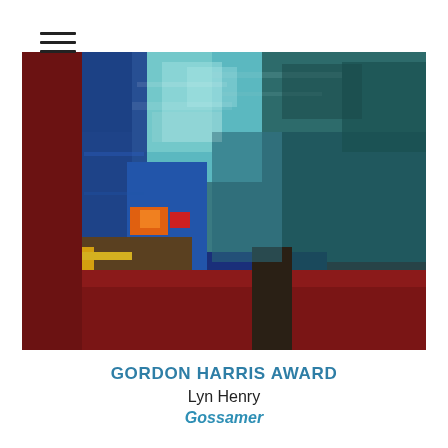[Figure (other): Hamburger menu icon with three horizontal lines]
[Figure (illustration): Abstract oil painting by Lyn Henry titled Gossamer, featuring bold brushstrokes of teal, blue, red, orange, and dark tones arranged in geometric-like color blocks on a deep red-brown background]
GORDON HARRIS AWARD
Lyn Henry
Gossamer